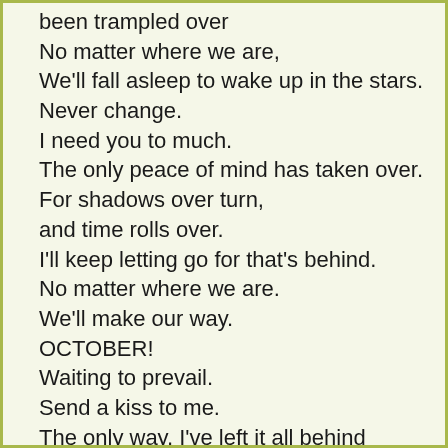been trampled over
No matter where we are,
We'll fall asleep to wake up in the stars.
Never change.
I need you to much.
The only peace of mind has taken over.
For shadows over turn,
and time rolls over.
I'll keep letting go for that's behind.
No matter where we are.
We'll make our way.
OCTOBER!
Waiting to prevail.
Send a kiss to me.
The only way, I've left it all behind
Priceless moments redesigned.
Consider life a chosen view
These thoughts forever ring of October
Waiting to prevail
Send a kiss to